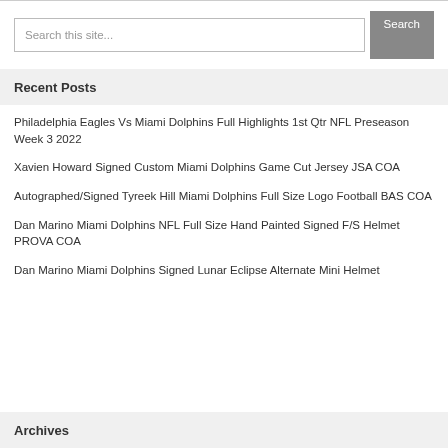Search this site...
Recent Posts
Philadelphia Eagles Vs Miami Dolphins Full Highlights 1st Qtr NFL Preseason Week 3 2022
Xavien Howard Signed Custom Miami Dolphins Game Cut Jersey JSA COA
Autographed/Signed Tyreek Hill Miami Dolphins Full Size Logo Football BAS COA
Dan Marino Miami Dolphins NFL Full Size Hand Painted Signed F/S Helmet PROVA COA
Dan Marino Miami Dolphins Signed Lunar Eclipse Alternate Mini Helmet
Archives